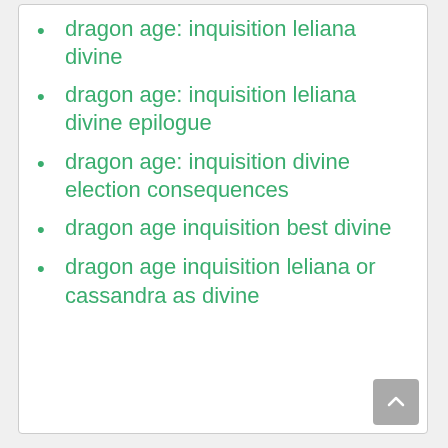dragon age: inquisition leliana divine
dragon age: inquisition leliana divine epilogue
dragon age: inquisition divine election consequences
dragon age inquisition best divine
dragon age inquisition leliana or cassandra as divine